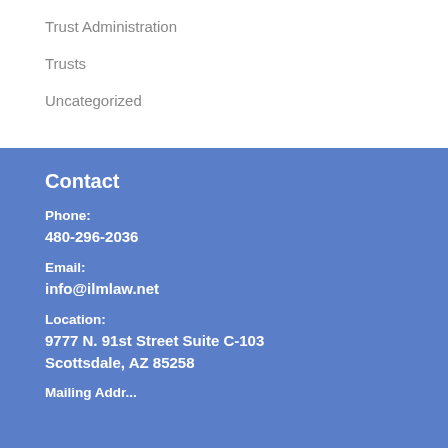Trust Administration
Trusts
Uncategorized
Contact
Phone:
480-296-2036
Email:
info@ilmlaw.net
Location:
9777 N. 91st Street Suite C-103
Scottsdale, AZ 85258
Mailing Address